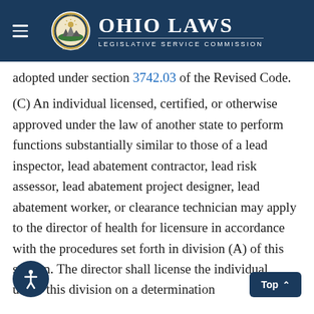Ohio Laws – Legislative Service Commission
adopted under section 3742.03 of the Revised Code.
(C) An individual licensed, certified, or otherwise approved under the law of another state to perform functions substantially similar to those of a lead inspector, lead abatement contractor, lead risk assessor, lead abatement project designer, lead abatement worker, or clearance technician may apply to the director of health for licensure in accordance with the procedures set forth in division (A) of this section. The director shall license the individual under this division on a determination